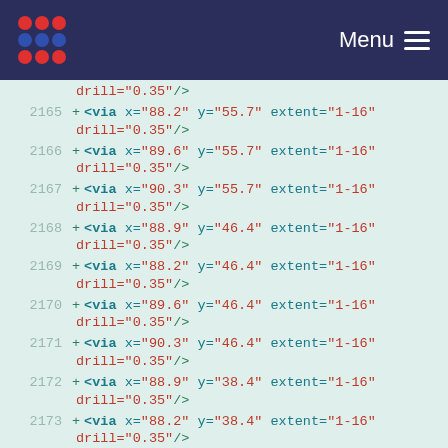Menu
drill="0.35"/>
2165 + <via x="88.2" y="55.7" extent="1-16" drill="0.35"/>
2166 + <via x="89.6" y="55.7" extent="1-16" drill="0.35"/>
2167 + <via x="90.3" y="55.7" extent="1-16" drill="0.35"/>
2168 + <via x="88.9" y="46.4" extent="1-16" drill="0.35"/>
2169 + <via x="88.2" y="46.4" extent="1-16" drill="0.35"/>
2170 + <via x="89.6" y="46.4" extent="1-16" drill="0.35"/>
2171 + <via x="90.3" y="46.4" extent="1-16" drill="0.35"/>
2172 + <via x="88.9" y="38.4" extent="1-16" drill="0.35"/>
2173 + <via x="88.2" y="38.4" extent="1-16" drill="0.35"/>
2174 + <via x="89.6" y="38.4" extent="1-16"